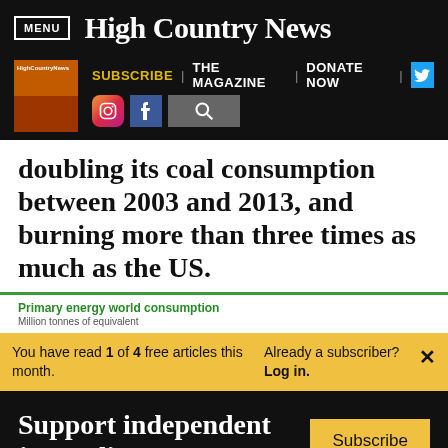MENU | High Country News
SUBSCRIBE | THE MAGAZINE | DONATE NOW
doubling its coal consumption between 2003 and 2013, and burning more than three times as much as the US.
Primary energy world consumption
Million tonnes of equivalent
You have read 1 of 4 free articles this month. Already a subscriber? Log in.
Support independent journalism.
Subscribe